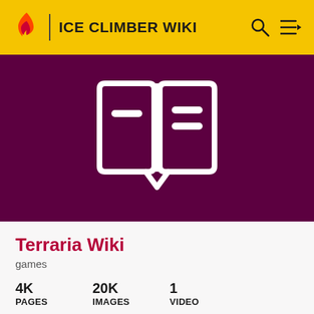ICE CLIMBER WIKI
[Figure (logo): Open book icon (wiki logo) on dark purple background]
Terraria Wiki
games
4K PAGES   20K IMAGES   1 VIDEO
The Terraria Wiki is a comprehensive resource containing information about all versions of Re-Logic's action-adventure game, Terraria.